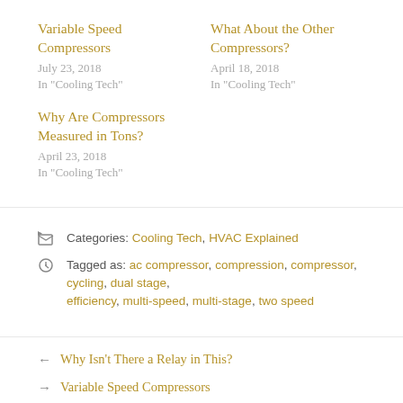Variable Speed Compressors
July 23, 2018
In "Cooling Tech"
What About the Other Compressors?
April 18, 2018
In "Cooling Tech"
Why Are Compressors Measured in Tons?
April 23, 2018
In "Cooling Tech"
Categories: Cooling Tech, HVAC Explained
Tagged as: ac compressor, compression, compressor, cycling, dual stage, efficiency, multi-speed, multi-stage, two speed
← Why Isn't There a Relay in This?
→ Variable Speed Compressors